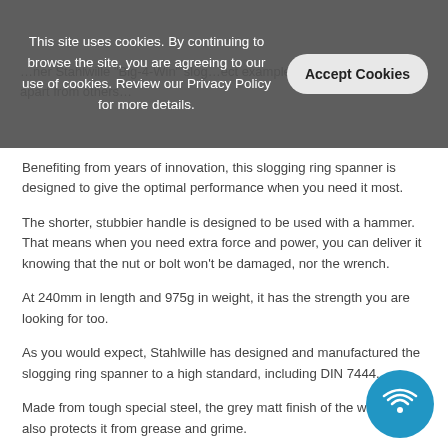This site uses cookies. By continuing to browse the site, you are agreeing to our use of cookies. Review our Privacy Policy for more details.
Benefiting from years of innovation, this slogging ring spanner is designed to give the optimal performance when you need it most.
The shorter, stubbier handle is designed to be used with a hammer. That means when you need extra force and power, you can deliver it knowing that the nut or bolt won't be damaged, nor the wrench.
At 240mm in length and 975g in weight, it has the strength you are looking for too.
As you would expect, Stahlwille has designed and manufactured the slogging ring spanner to a high standard, including DIN 7444.
Made from tough special steel, the grey matt finish of the wrench also protects it from grease and grime.
Features
Ideal for use in confined spaces
Designed for use with a hammer